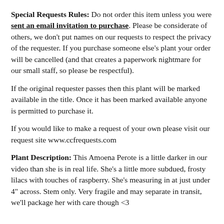Special Requests Rules: Do not order this item unless you were sent an email invitation to purchase. Please be considerate of others, we don't put names on our requests to respect the privacy of the requester. If you purchase someone else's plant your order will be cancelled (and that creates a paperwork nightmare for our small staff, so please be respectful).
If the original requester passes then this plant will be marked available in the title. Once it has been marked available anyone is permitted to purchase it.
If you would like to make a request of your own please visit our request site www.ccfrequests.com
Plant Description: This Amoena Perote is a little darker in our video than she is in real life. She's a little more subdued, frosty lilacs with touches of raspberry. She's measuring in at just under 4" across. Stem only. Very fragile and may separate in transit, we'll package her with care though <3